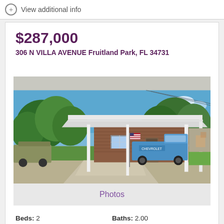View additional info
$287,000
306 N VILLA AVENUE Fruitland Park, FL 34731
[Figure (photo): Exterior photo of a brick house with a large white metal carport/canopy. A classic blue Chevrolet truck is parked under the carport. An American flag is displayed near the front door. A green SUV is partially visible on the left. There is a concrete driveway and lush green trees in the background under a blue sky.]
Photos
Beds: 2
Baths: 2.00
Sq.Ft.: 1,796
Status: Active